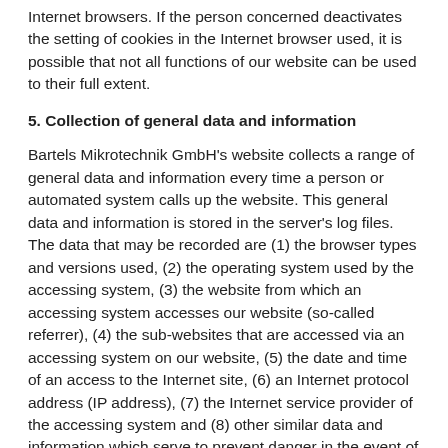Internet browsers. If the person concerned deactivates the setting of cookies in the Internet browser used, it is possible that not all functions of our website can be used to their full extent.
5. Collection of general data and information
Bartels Mikrotechnik GmbH's website collects a range of general data and information every time a person or automated system calls up the website. This general data and information is stored in the server's log files. The data that may be recorded are (1) the browser types and versions used, (2) the operating system used by the accessing system, (3) the website from which an accessing system accesses our website (so-called referrer), (4) the sub-websites that are accessed via an accessing system on our website, (5) the date and time of an access to the Internet site, (6) an Internet protocol address (IP address), (7) the Internet service provider of the accessing system and (8) other similar data and information which serve to prevent danger in the event of attacks on our information technology systems.
Bartels Mikrotechnik GmbH shall not draw any